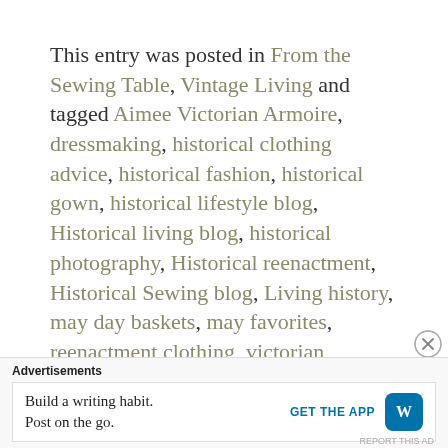This entry was posted in From the Sewing Table, Vintage Living and tagged Aimee Victorian Armoire, dressmaking, historical clothing advice, historical fashion, historical gown, historical lifestyle blog, Historical living blog, historical photography, Historical reenactment, Historical Sewing blog, Living history, may day baskets, may favorites, reenactment clothing, victorian fashion. victorian hairstyles.
Advertisements
Build a writing habit. Post on the go. GET THE APP